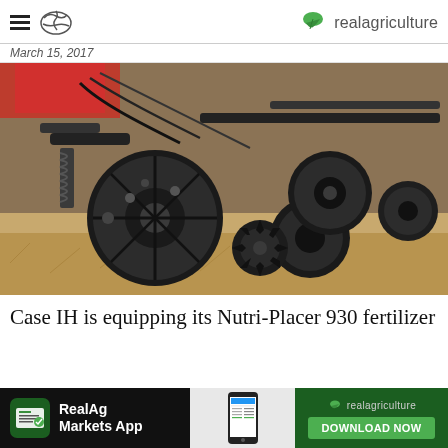realagriculture
March 15, 2017
[Figure (photo): Close-up photograph of Case IH Nutri-Placer 930 fertilizer applicator machinery showing black disc openers, closing wheels, and other row unit components on dry stubble field background]
Case IH is equipping its Nutri-Placer 930 fertilizer
[Figure (infographic): Advertisement banner for RealAg Markets App with app icon, phone screenshot, and Download Now button on realagriculture branded background]